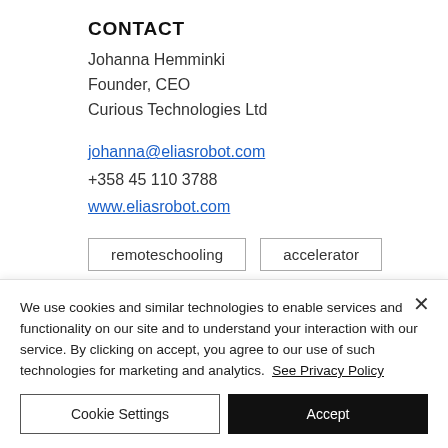CONTACT
Johanna Hemminki
Founder, CEO
Curious Technologies Ltd
johanna@eliasrobot.com
+358 45 110 3788
www.eliasrobot.com
remoteschooling
accelerator
We use cookies and similar technologies to enable services and functionality on our site and to understand your interaction with our service. By clicking on accept, you agree to our use of such technologies for marketing and analytics.  See Privacy Policy